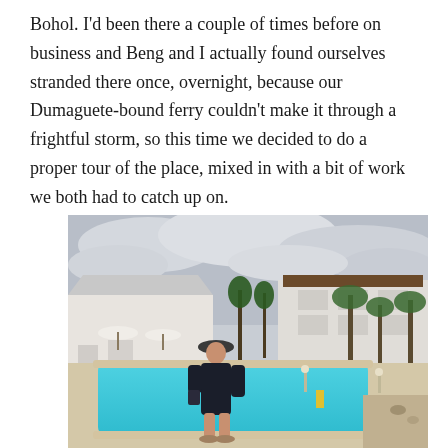Bohol. I'd been there a couple of times before on business and Beng and I actually found ourselves stranded there once, overnight, because our Dumaguete-bound ferry couldn't make it through a frightful storm, so this time we decided to do a proper tour of the place, mixed in with a bit of work we both had to catch up on.
[Figure (photo): A woman in a dark outfit and hat standing beside a large resort swimming pool with turquoise water, white buildings and palm trees in the background under a cloudy sky.]